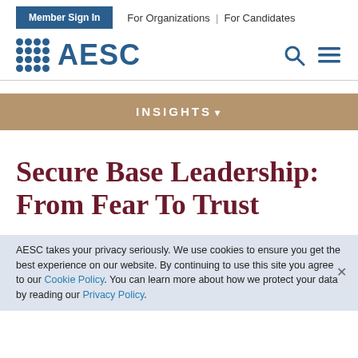Member Sign In | For Organizations | For Candidates
[Figure (logo): AESC logo with blue grid dots and AESC text, search icon and hamburger menu icon]
[Figure (infographic): INSIGHTS dropdown navigation bar in tan/brown color]
Secure Base Leadership: From Fear To Trust
AESC takes your privacy seriously. We use cookies to ensure you get the best experience on our website. By continuing to use this site you agree to our Cookie Policy. You can learn more about how we protect your data by reading our Privacy Policy.